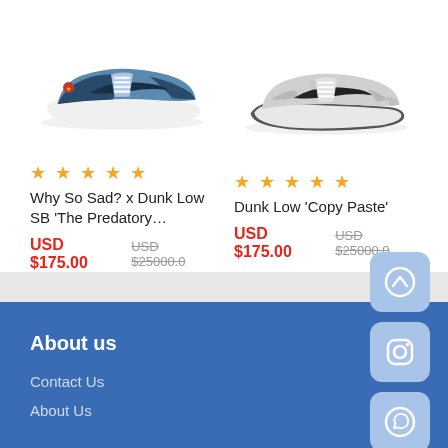[Figure (photo): Nike SB Dunk Low sneaker in blue and navy colorway - Why So Sad? x Dunk Low SB The Predatory]
[Figure (photo): Nike Dunk Low sneaker in grey and black colorway - Dunk Low Copy Paste]
★★★★★
Why So Sad? x Dunk Low SB 'The Predatory…
USD $175.00  USD $25000.0
★★★★★
Dunk Low 'Copy Paste'
USD $175.00  USD $25000.0
[Figure (logo): Scroll to top button - up arrow icon in light blue rounded square]
[Figure (logo): Instagram icon in light blue rounded square]
[Figure (logo): WhatsApp icon in light blue rounded square]
About us
Contact Us
About Us